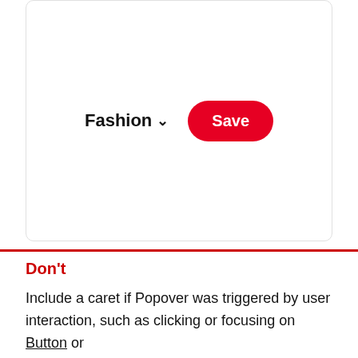[Figure (screenshot): A UI mockup showing a 'Fashion' dropdown label with a chevron and a red rounded 'Save' button, inside a rounded-corner white box.]
Don't
Include a caret if Popover was triggered by user interaction, such as clicking or focusing on Button or